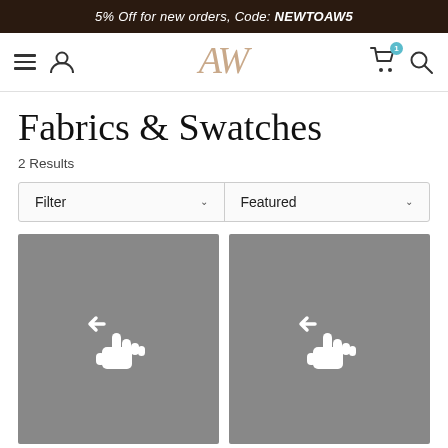5% Off for new orders, Code: NEWTOAW5
[Figure (screenshot): Navigation bar with hamburger menu, user icon, AW logo in rose gold, cart icon with teal badge, and search icon]
Fabrics & Swatches
2 Results
Filter | Featured
[Figure (photo): Product image placeholder with swipe gesture icon on grey background]
[Figure (photo): Product image placeholder with swipe gesture icon on grey background]